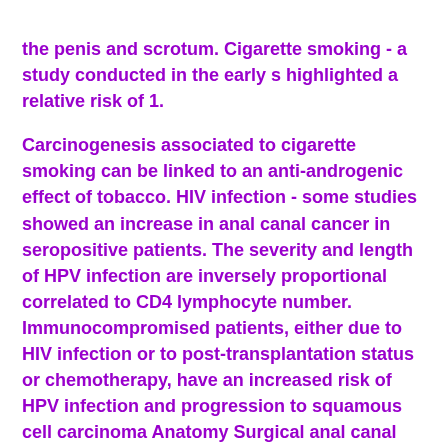the penis and scrotum. Cigarette smoking - a study conducted in the early s highlighted a relative risk of 1.
Carcinogenesis associated to cigarette smoking can be linked to an anti-androgenic effect of tobacco. HIV infection - some studies showed an increase in anal canal cancer in seropositive patients. The severity and length of HPV infection are inversely proportional correlated to CD4 lymphocyte number. Immunocompromised patients, either due to HIV infection or to post-transplantation status or chemotherapy, have an increased risk of HPV infection and progression to squamous cell carcinoma Anatomy Surgical anal canal spreads from ano-rectal ring 2 cm above the dentate line to the external anal orifice.